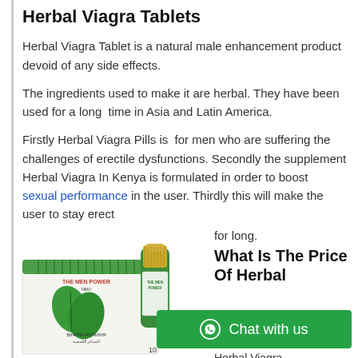Herbal Viagra Tablets
Herbal Viagra Tablet is a natural male enhancement product devoid of any side effects.
The ingredients used to make it are herbal. They have been used for a long  time in Asia and Latin America.
Firstly Herbal Viagra Pills is  for men who are suffering the challenges of erectile dysfunctions. Secondly the supplement Herbal Viagra In Kenya is formulated in order to boost  sexual performance in the user. Thirdly this will make the user to stay erect for long.
[Figure (photo): Product photo of Herbal Viagra tablet box (The Men Power) with green leaf design and a small green bottle with gold cap, labeled in English, Arabic, and Russian, showing '10' tablets.]
What Is The Price Of Herbal
Chat with us
Herbal Viagra